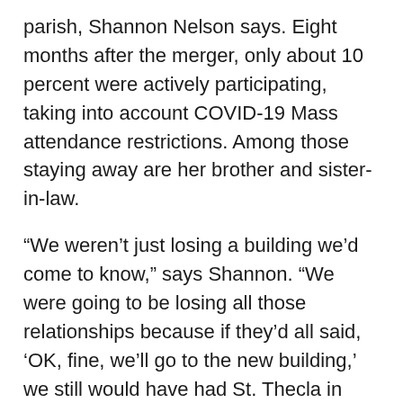parish, Shannon Nelson says. Eight months after the merger, only about 10 percent were actively participating, taking into account COVID-19 Mass attendance restrictions. Among those staying away are her brother and sister-in-law.
“We weren’t just losing a building we’d come to know,” says Shannon. “We were going to be losing all those relationships because if they’d all said, ‘OK, fine, we’ll go to the new building,’ we still would have had St. Thecla in spirit and in people,” she says. “For the great majority, they will not be part of St. Elizabeth of the Trinity because they are so angry with the decision.”
St. Cornelius parishioners didn’t react as strongly in